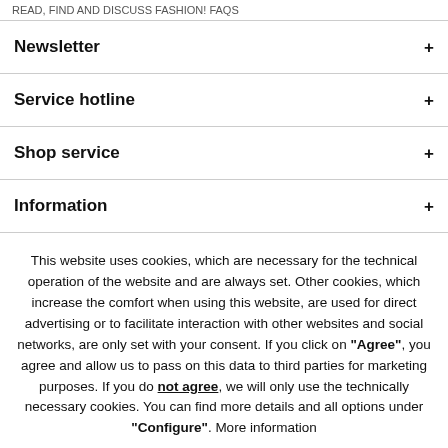READ, FIND AND DISCUSS FASHION! FAQS
Newsletter
Service hotline
Shop service
Information
This website uses cookies, which are necessary for the technical operation of the website and are always set. Other cookies, which increase the comfort when using this website, are used for direct advertising or to facilitate interaction with other websites and social networks, are only set with your consent. If you click on "Agree", you agree and allow us to pass on this data to third parties for marketing purposes. If you do not agree, we will only use the technically necessary cookies. You can find more details and all options under "Configure". More information
Agree
Configure